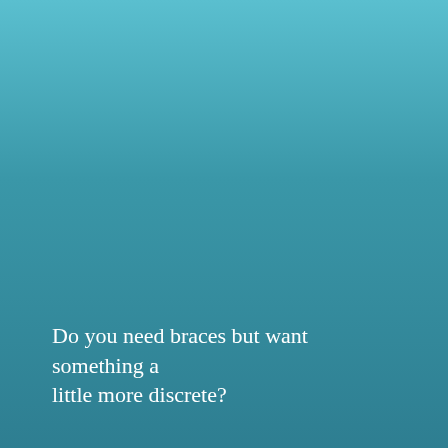[Figure (illustration): Teal-to-blue gradient background covering the full page, transitioning from a lighter teal at the top to a deeper steel blue at the bottom.]
Do you need braces but want something a little more discrete?